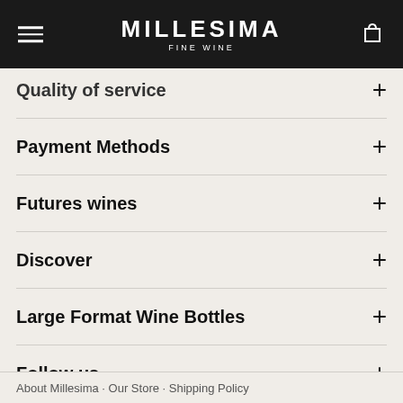MILLESIMA FINE WINE
Quality of service
Payment Methods
Futures wines
Discover
Large Format Wine Bottles
Follow us
USA, USD
About Millesima · Our Store · Shipping Policy